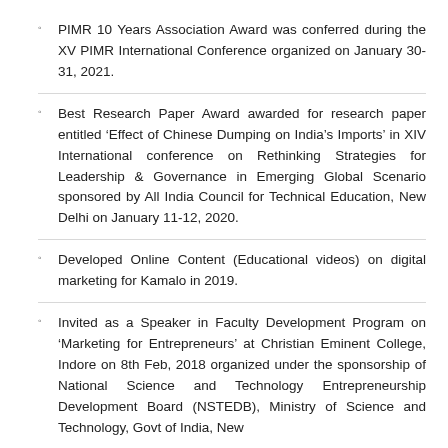PIMR 10 Years Association Award was conferred during the XV PIMR International Conference organized on January 30-31, 2021.
Best Research Paper Award awarded for research paper entitled ‘Effect of Chinese Dumping on India’s Imports’ in XIV International conference on Rethinking Strategies for Leadership & Governance in Emerging Global Scenario sponsored by All India Council for Technical Education, New Delhi on January 11-12, 2020.
Developed Online Content (Educational videos) on digital marketing for Kamalo in 2019.
Invited as a Speaker in Faculty Development Program on ‘Marketing for Entrepreneurs’ at Christian Eminent College, Indore on 8th Feb, 2018 organized under the sponsorship of National Science and Technology Entrepreneurship Development Board (NSTEDB), Ministry of Science and Technology, Govt of India, New